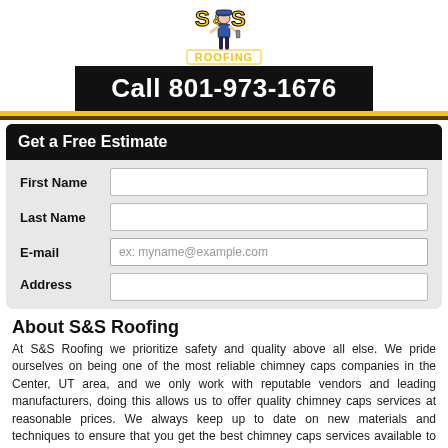[Figure (logo): S&S Roofing cartoon logo with worker holding a hammer and paint roller, yellow S&S text above ROOFING text]
Call 801-973-1676
Get a Free Estimate
First Name
Last Name
E-mail
Address
About S&S Roofing
At S&S Roofing we prioritize safety and quality above all else. We pride ourselves on being one of the most reliable chimney caps companies in the Center, UT area, and we only work with reputable vendors and leading manufacturers, doing this allows us to offer quality chimney caps services at reasonable prices. We always keep up to date on new materials and techniques to ensure that you get the best chimney caps services available to you! If you need assistance with any chimney caps projects in the Center, UT area, please call S&S Roofing at 801-973-1676 today. We